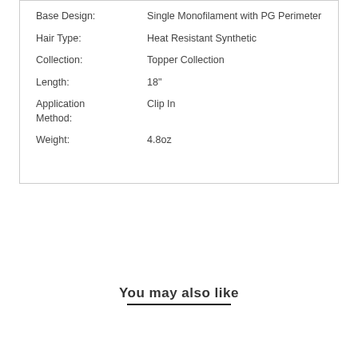| Attribute | Value |
| --- | --- |
| Base Design: | Single Monofilament with PG Perimeter |
| Hair Type: | Heat Resistant Synthetic |
| Collection: | Topper Collection |
| Length: | 18" |
| Application Method: | Clip In |
| Weight: | 4.8oz |
You may also like